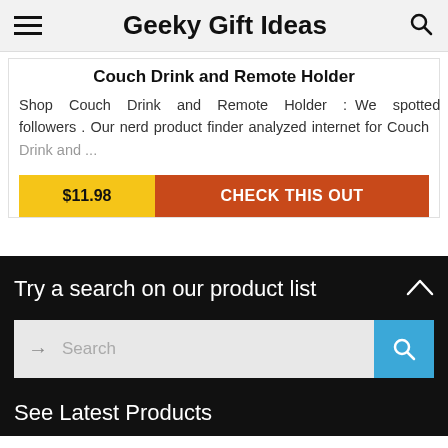Geeky Gift Ideas
Couch Drink and Remote Holder
Shop Couch Drink and Remote Holder : We spotted this perfect thing for our lovely followers . Our nerd product finder analyzed internet for Couch Drink and ...
$11.98
CHECK THIS OUT
Try a search on our product list
Search
See Latest Products